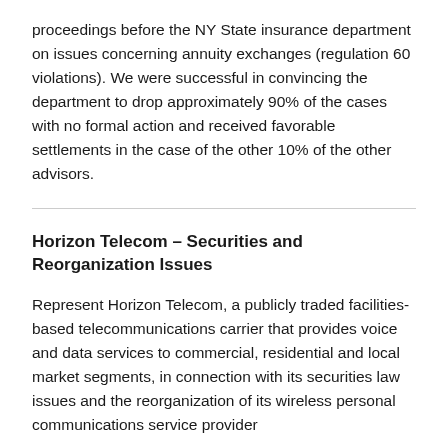proceedings before the NY State insurance department on issues concerning annuity exchanges (regulation 60 violations). We were successful in convincing the department to drop approximately 90% of the cases with no formal action and received favorable settlements in the case of the other 10% of the other advisors.
Horizon Telecom – Securities and Reorganization Issues
Represent Horizon Telecom, a publicly traded facilities-based telecommunications carrier that provides voice and data services to commercial, residential and local market segments, in connection with its securities law issues and the reorganization of its wireless personal communications service provider